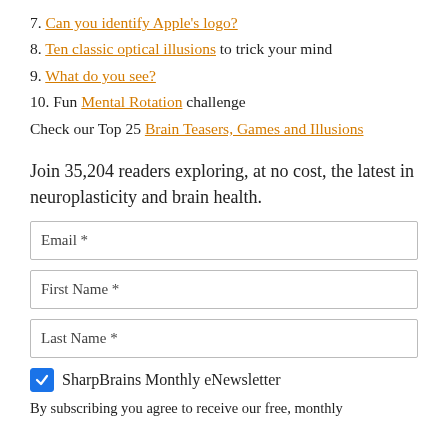7. Can you identify Apple's logo?
8. Ten classic optical illusions to trick your mind
9. What do you see?
10. Fun Mental Rotation challenge
Check our Top 25 Brain Teasers, Games and Illusions
Join 35,204 readers exploring, at no cost, the latest in neuroplasticity and brain health.
Email *
First Name *
Last Name *
SharpBrains Monthly eNewsletter
By subscribing you agree to receive our free, monthly